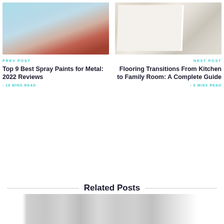[Figure (photo): Close-up photo of spray paint can near a red painted metal surface with blue/light background]
PREV POST
Top 9 Best Spray Paints for Metal: 2022 Reviews
- 18 MINS READ
[Figure (photo): Close-up photo of flooring transition strip between two floor types, showing white trim piece]
NEXT POST
Flooring Transitions From Kitchen to Family Room: A Complete Guide
- 8 MINS READ
Related Posts
[Figure (photo): Partial photo visible at bottom of page, appears to be a room interior]